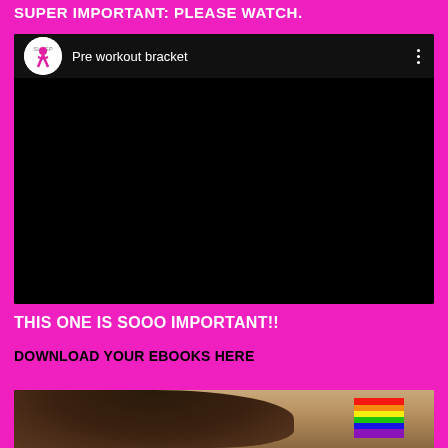SUPER IMPORTANT: PLEASE WATCH.
[Figure (screenshot): YouTube-style video player with black screen, showing channel logo (pink figure on white circle) and title 'Pre workout bracket' with three-dot menu]
THIS ONE IS SOOO IMPORTANT!!
DOWNLOAD YOUR EBOOKS HERE
[Figure (photo): Partial photo showing dark hair of a person and a rainbow-colored object in the bottom right corner, on a pink background]